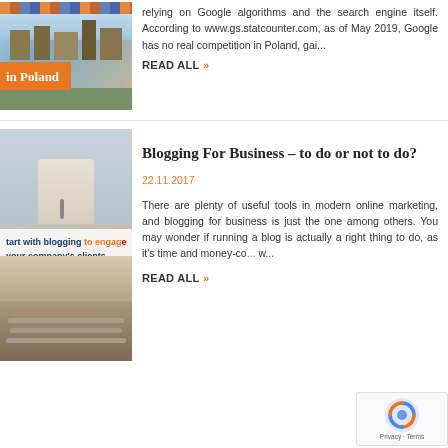[Figure (photo): Image with orange overlay banner showing 'in Poland' text, cityscape background]
relying on Google algorithms and the search engine itself. According to www.gs.statcounter.com, as of May 2019, Google has no real competition in Poland, gai...
READ ALL »
[Figure (photo): Person typing on laptop with text overlay: 'start with blogging to engage your company's clients - you will see the effect in a month']
Blogging For Business – to do or not to do?
22.11.2017
There are plenty of useful tools in modern online marketing, and blogging for business is just the one among others. You may wonder if running a blog is actually a right thing to do, as it's time and money-co... w...
READ ALL »